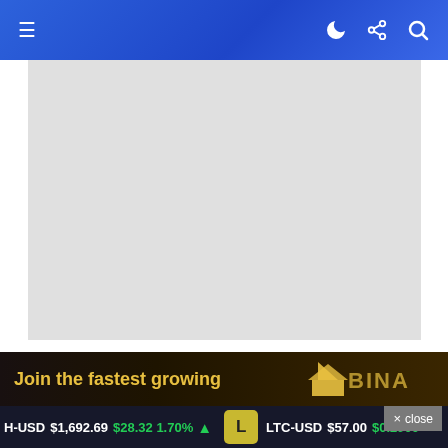≡  ) ≪ 🔍
[Figure (photo): Gray placeholder image area for article header photo]
Crypto News   Defi   Ethereum   News
Binance CEO Says Exchange Recovered $450 Million From the Curve Finance Attack
× close
[Figure (illustration): Binance advertisement banner: Join the fastest growing — with Binance logo]
H-USD $1,692.69  $28.32 1.70% ▲     LTC-USD $57.00  $0.2900